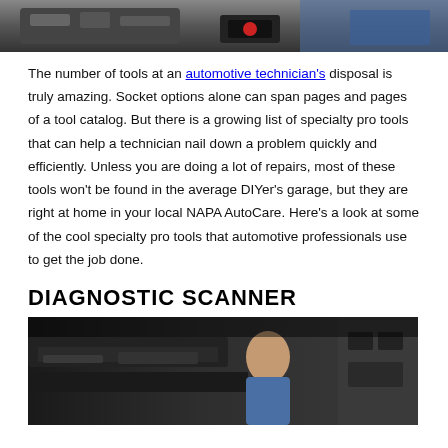[Figure (photo): Close-up photo of an automotive technician using a diagnostic tool on a car engine, wearing a blue uniform.]
The number of tools at an automotive technician's disposal is truly amazing. Socket options alone can span pages and pages of a tool catalog. But there is a growing list of specialty pro tools that can help a technician nail down a problem quickly and efficiently. Unless you are doing a lot of repairs, most of these tools won't be found in the average DIYer's garage, but they are right at home in your local NAPA AutoCare. Here's a look at some of the cool specialty pro tools that automotive professionals use to get the job done.
DIAGNOSTIC SCANNER
[Figure (photo): Photo of an automotive technician in a blue uniform working underneath a car that is raised on a lift in a garage.]